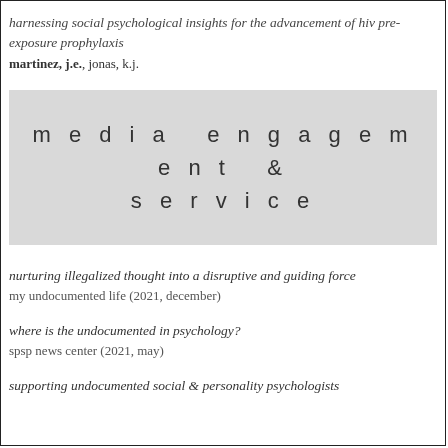harnessing social psychological insights for the advancement of hiv pre-exposure prophylaxis
martinez, j.e., jonas, k.j.
media engagement & service
nurturing illegalized thought into a disruptive and guiding force
my undocumented life (2021, december)
where is the undocumented in psychology?
spsp news center (2021, may)
supporting undocumented social & personality psychologists